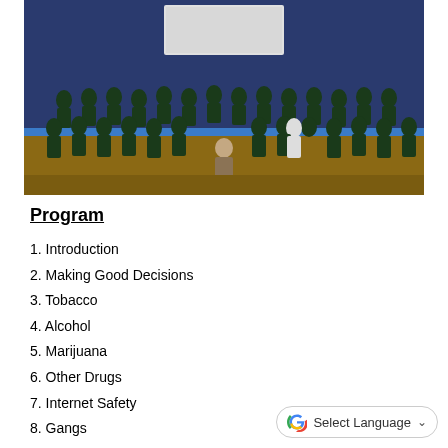[Figure (photo): Group photo of students in dark green t-shirts with a uniformed officer kneeling in the center, in a school auditorium with blue curtains in the background.]
Program
1. Introduction
2. Making Good Decisions
3. Tobacco
4. Alcohol
5. Marijuana
6. Other Drugs
7. Internet Safety
8. Gangs